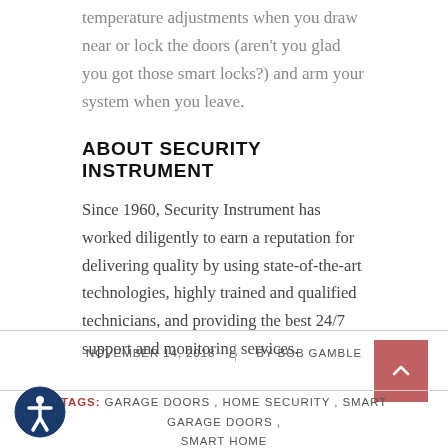temperature adjustments when you draw near or lock the doors (aren't you glad you got those smart locks?) and arm your system when you leave.
ABOUT SECURITY INSTRUMENT
Since 1960, Security Instrument has worked diligently to earn a reputation for delivering quality by using state-of-the-art technologies, highly trained and qualified technicians, and providing the best 24/7 support and monitoring services.
NOVEMBER 14, 2018 | BY BOB GAMBLE
TAGS: GARAGE DOORS, HOME SECURITY, SMART GARAGE DOORS, SMART HOME